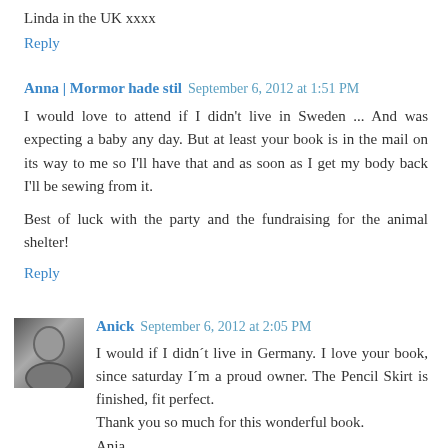Linda in the UK xxxx
Reply
Anna | Mormor hade stil  September 6, 2012 at 1:51 PM
I would love to attend if I didn't live in Sweden ... And was expecting a baby any day. But at least your book is in the mail on its way to me so I'll have that and as soon as I get my body back I'll be sewing from it.
Best of luck with the party and the fundraising for the animal shelter!
Reply
Anick  September 6, 2012 at 2:05 PM
I would if I didn´t live in Germany. I love your book, since saturday I´m a proud owner. The Pencil Skirt is finished, fit perfect.
Thank you so much for this wonderful book.
Anja